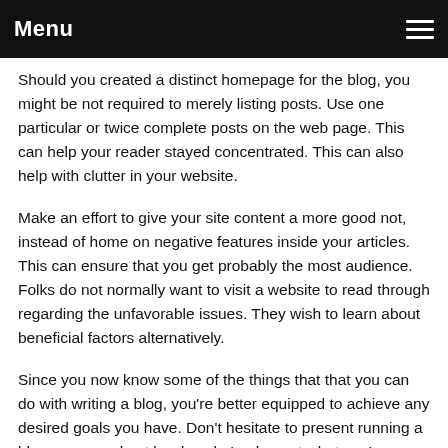Menu
Should you created a distinct homepage for the blog, you might be not required to merely listing posts. Use one particular or twice complete posts on the web page. This can help your reader stayed concentrated. This can also help with clutter in your website.
Make an effort to give your site content a more good not, instead of home on negative features inside your articles. This can ensure that you get probably the most audience. Folks do not normally want to visit a website to read through regarding the unfavorable issues. They wish to learn about beneficial factors alternatively.
Since you now know some of the things that that you can do with writing a blog, you're better equipped to achieve any desired goals you have. Don't hesitate to present running a blog your very best hard work. Implement what you've learned from your report over and you may be a specialist blog writer very